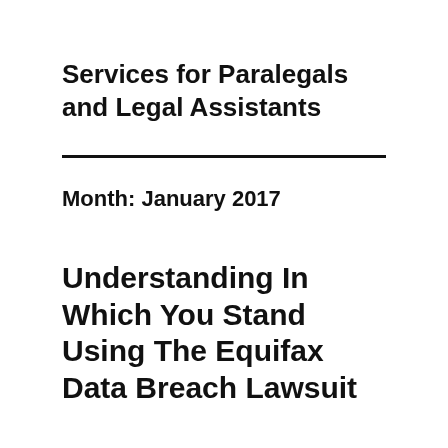Services for Paralegals and Legal Assistants
Month: January 2017
Understanding In Which You Stand Using The Equifax Data Breach Lawsuit